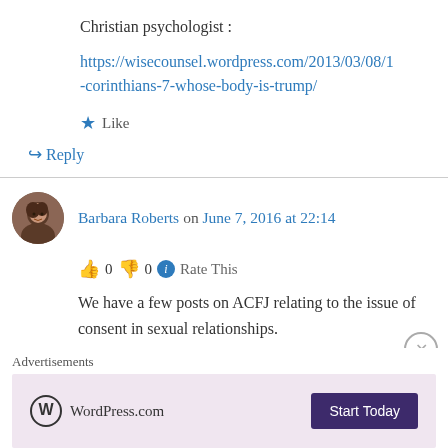Christian psychologist :
https://wisecounsel.wordpress.com/2013/03/08/1-corinthians-7-whose-body-is-trump/
★ Like
↪ Reply
Barbara Roberts on June 7, 2016 at 22:14
👍 0 👎 0 ℹ Rate This
We have a few posts on ACFJ relating to the issue of consent in sexual relationships.
Advertisements
[Figure (screenshot): WordPress.com advertisement banner with pink background, WordPress logo and 'Start Today' button]